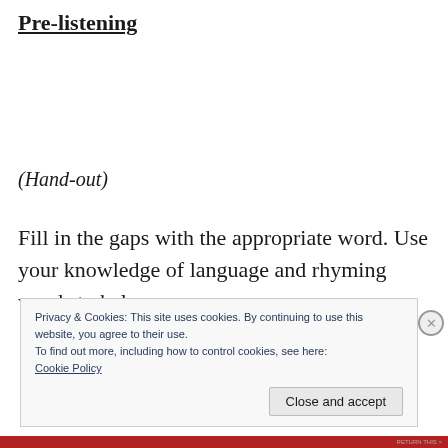Pre-listening
(Hand-out)
Fill in the gaps with the appropriate word. Use your knowledge of language and rhyming words to help you.
Privacy & Cookies: This site uses cookies. By continuing to use this website, you agree to their use.
To find out more, including how to control cookies, see here:
Cookie Policy
Close and accept